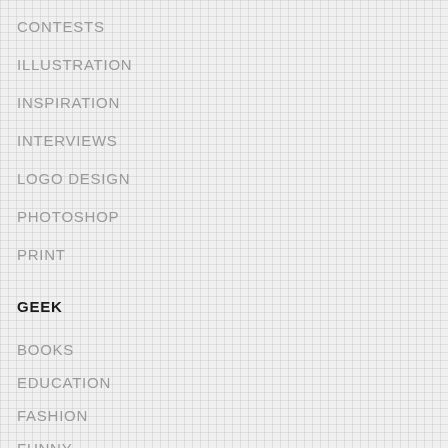CONTESTS
ILLUSTRATION
INSPIRATION
INTERVIEWS
LOGO DESIGN
PHOTOSHOP
PRINT
GEEK
BOOKS
EDUCATION
FASHION
FUNNY
GAMES